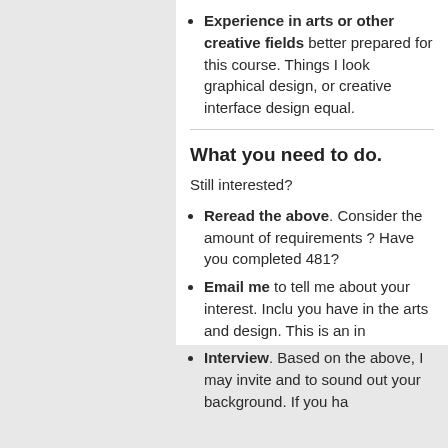Experience in arts or other creative fields better prepared for this course. Things I look graphical design, or creative interface design equal.
What you need to do.
Still interested?
Reread the above. Consider the amount of requirements ? Have you completed 481?
Email me to tell me about your interest. Include you have in the arts and design. This is an in
Interview. Based on the above, I may invite and to sound out your background. If you ha